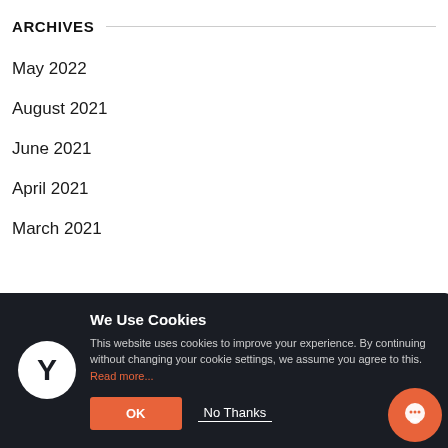ARCHIVES
May 2022
August 2021
June 2021
April 2021
March 2021
We Use Cookies
This website uses cookies to improve your experience. By continuing without changing your cookie settings, we assume you agree to this. Read more...
OK   No Thanks